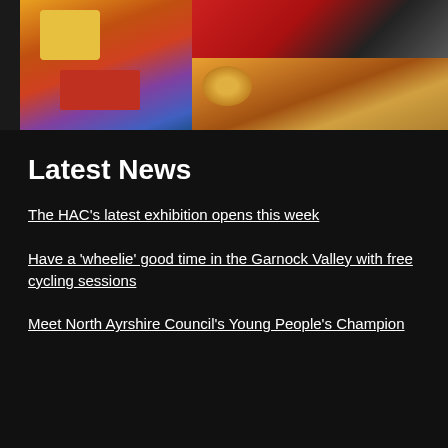[Figure (photo): Three images: a colorful painting of a harbor scene (left-center), a red and black abstract/bus image (top-right), and a tiger face painting (bottom-right)]
Latest News
The HAC's latest exhibition opens this week
Have a 'wheelie' good time in the Garnock Valley with free cycling sessions
Meet North Ayrshire Council's Young People's Champion